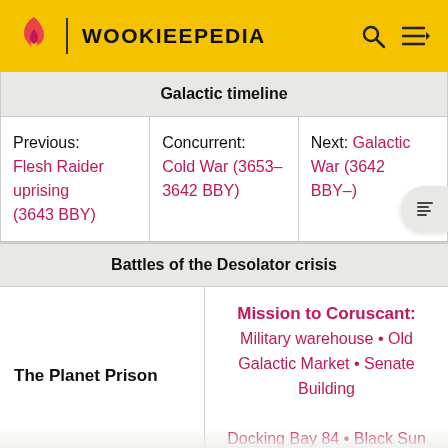WOOKIEEPEDIA
| Galactic timeline |
| --- |
| Previous: Flesh Raider uprising (3643 BBY) | Concurrent: Cold War (3653–3642 BBY) | Next: Galactic War (3642 BBY–) |
Battles of the Desolator crisis
| The Planet Prison | Mission to Coruscant: Military warehouse • Old Galactic Market • Senate Building
Docking Bay 84 • Black Sun |